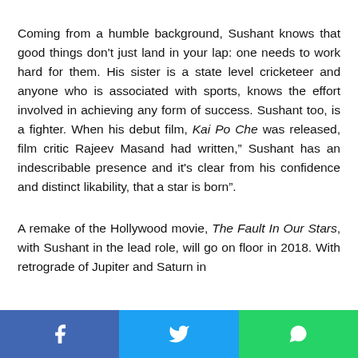Coming from a humble background, Sushant knows that good things don't just land in your lap: one needs to work hard for them. His sister is a state level cricketeer and anyone who is associated with sports, knows the effort involved in achieving any form of success. Sushant too, is a fighter. When his debut film, Kai Po Che was released, film critic Rajeev Masand had written," Sushant has an indescribable presence and it's clear from his confidence and distinct likability, that a star is born".
A remake of the Hollywood movie, The Fault In Our Stars, with Sushant in the lead role, will go on floor in 2018. With retrograde of Jupiter and Saturn in...
Social share bar with Facebook, Twitter, WhatsApp